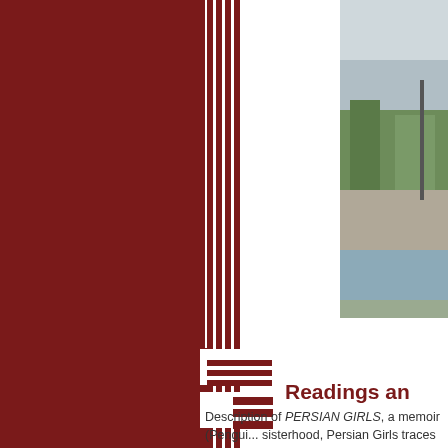[Figure (photo): Outdoor photo showing sky, trees, and a road or walkway, positioned in the upper right corner of the page]
Readings an
Description of PERSIAN GIRLS, a memoir (Pengui... sisterhood, Persian Girls traces Rachlin's coming of... family life, and her relationship with her older siste...